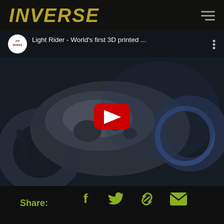INVERSE
[Figure (screenshot): YouTube video embed showing 'Light Rider - World's first 3D printed ...' from APWorks channel, with a dark motorcycle render as thumbnail and a red YouTube play button in the center]
Share:
[Figure (infographic): Share icons: Facebook, Twitter, Link/Chain, Email envelope — all in olive/green color]